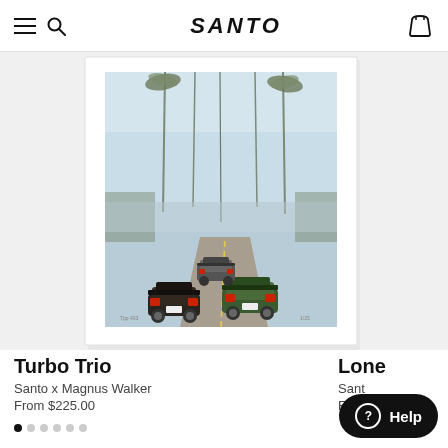SANTO
[Figure (photo): Framed photographic print showing three Porsche 911 Turbo cars driving on a misty road lined with tall palm trees, viewed from behind. The print has a white frame/mat border.]
Turbo Trio
Santo x Magnus Walker
From $225.00
Lone
Sant
From